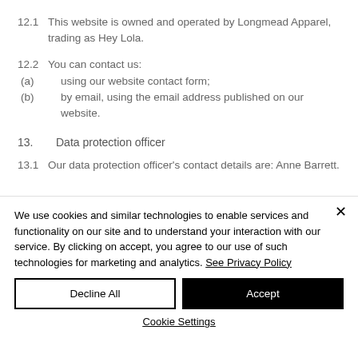12.1  This website is owned and operated by Longmead Apparel, trading as Hey Lola.
12.2  You can contact us:
(a)   using our website contact form;
(b)   by email, using the email address published on our website.
13.   Data protection officer
13.1  Our data protection officer's contact details are: Anne Barrett.
We use cookies and similar technologies to enable services and functionality on our site and to understand your interaction with our service. By clicking on accept, you agree to our use of such technologies for marketing and analytics. See Privacy Policy
Decline All
Accept
Cookie Settings